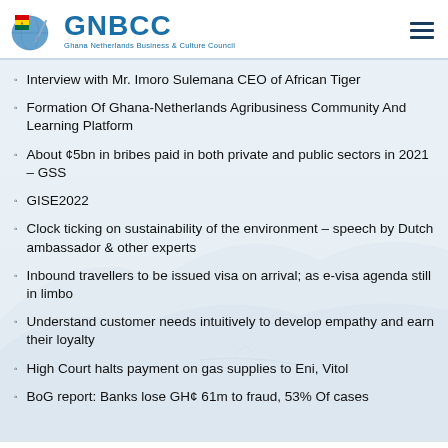GNBCC – Ghana Netherlands Business & Culture Council
Interview with Mr. Imoro Sulemana CEO of African Tiger
Formation Of Ghana-Netherlands Agribusiness Community And Learning Platform
About ¢5bn in bribes paid in both private and public sectors in 2021 – GSS
GISE2022
Clock ticking on sustainability of the environment – speech by Dutch ambassador & other experts
Inbound travellers to be issued visa on arrival; as e-visa agenda still in limbo
Understand customer needs intuitively to develop empathy and earn their loyalty
High Court halts payment on gas supplies to Eni, Vitol
BoG report: Banks lose GH¢ 61m to fraud, 53% Of cases